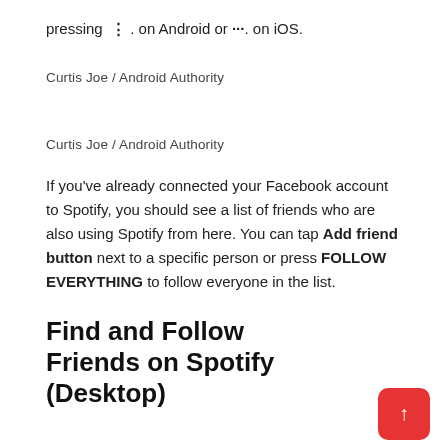pressing ⋮ . on Android or ···. on iOS.
Curtis Joe / Android Authority
Curtis Joe / Android Authority
If you've already connected your Facebook account to Spotify, you should see a list of friends who are also using Spotify from here. You can tap Add friend button next to a specific person or press FOLLOW EVERYTHING to follow everyone in the list.
Find and Follow Friends on Spotify (Desktop)